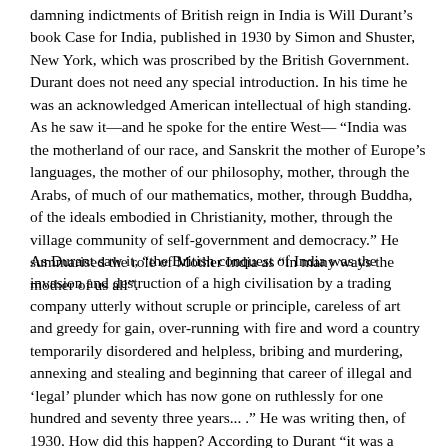damning indictments of British reign in India is Will Durant’s book Case for India, published in 1930 by Simon and Shuster, New York, which was proscribed by the British Government. Durant does not need any special introduction. In his time he was an acknowledged American intellectual of high standing. As he saw it—and he spoke for the entire West— “India was the motherland of our race, and Sanskrit the mother of Europe’s languages, the mother of our philosophy, mother, through the Arabs, of much of our mathematics, mother, through Buddha, of the ideals embodied in Christianity, mother, through the village community of self-government and democracy.” He summarised the role of Mother India as “in many ways the mother of us all”.
As Durant saw it, “the British conquest of India was the invasion and destruction of a high civilisation by a trading company utterly without scruple or principle, careless of art and greedy for gain, over-running with fire and word a country temporarily disordered and helpless, bribing and murdering, annexing and stealing and beginning that career of illegal and ‘legal’ plunder which has now gone on ruthlessly for one hundred and seventy three years... .” He was writing then, of 1930. How did this happen? According to Durant “it was a simple matter for a group of English buccaneers, armed with the latest European artillery and mortars, to defeat the bows and